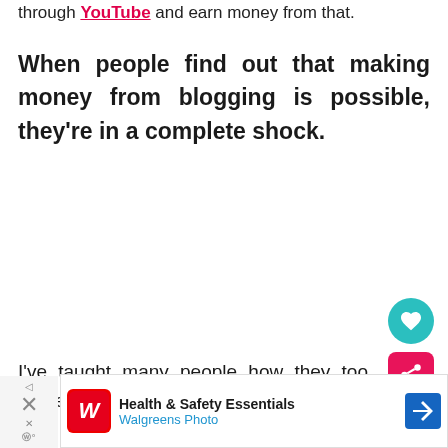through YouTube and earn money from that.
When people find out that making money from blogging is possible, they're in a complete shock.
I've taught many people how they too monetize their blog and this post ways to do it.
[Figure (screenshot): Floating UI controls: teal heart/save button and pink/red share button overlay]
[Figure (screenshot): What's Next widget showing 'How to Make Money with...' article thumbnail]
[Figure (screenshot): Walgreens Photo ad banner: Health & Safety Essentials with navigation arrow icon and close button]